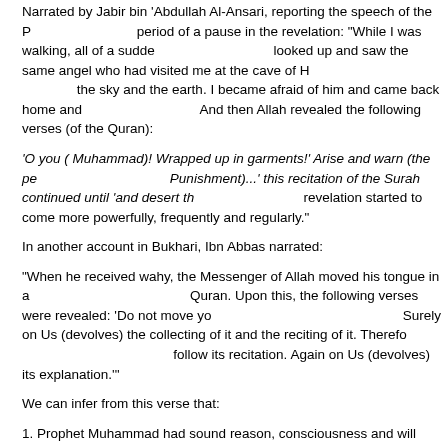Narrated by Jabir bin 'Abdullah Al-Ansari, reporting the speech of the Prophet during the period of a pause in the revelation: "While I was walking, all of a sudden, I heard a voice. I looked up and saw the same angel who had visited me at the cave of Hira' sitting on a chair between the sky and the earth. I became afraid of him and came back home and said 'Wrap me up (in blankets).' And then Allah revealed the following verses (of the Quran):
'O you ( Muhammad)! Wrapped up in garments!' Arise and warn (the people)! ... (and fear the Punishment)...' this recitation of the Surah continued until 'and desert the idols.' After this, revelation started to come more powerfully, frequently and regularly."
In another account in Bukhari, Ibn Abbas narrated:
"When he received wahy, the Messenger of Allah moved his tongue in a way as if to memorize the Quran. Upon this, the following verses were revealed: 'Do not move your tongue to make haste with it. Surely on Us (devolves) the collecting of it and the reciting of it. Therefore when We have recited it, follow its recitation. Again on Us (devolves) its explanation.'"
We can infer from this verse that:
1. Prophet Muhammad had sound reason, consciousness and will when receiving wahy. We should not assume from his appearance during these moments that he was unconscious or had passed out.